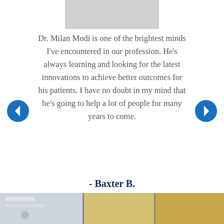[Figure (photo): Partially visible profile photo placeholder (gray rectangle, top of page)]
Dr. Milan Modi is one of the brightest minds I've encountered in our profession. He's always learning and looking for the latest innovations to achieve better outcomes for his patients. I have no doubt in my mind that he's going to help a lot of people for many years to come.
- Baxter B.
[Figure (photo): Bottom strip showing partial interior office/clinic photos]